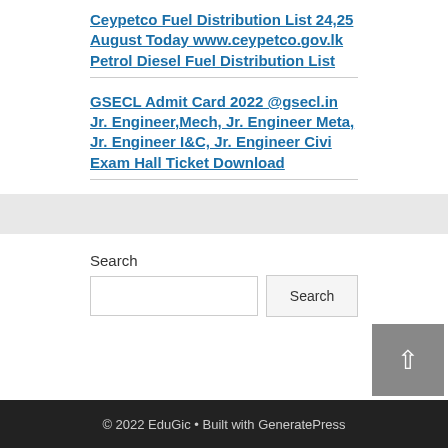Ceypetco Fuel Distribution List 24,25 August Today www.ceypetco.gov.lk Petrol Diesel Fuel Distribution List
GSECL Admit Card 2022 @gsecl.in Jr. Engineer,Mech, Jr. Engineer Meta, Jr. Engineer I&C, Jr. Engineer Civi Exam Hall Ticket Download
Search
© 2022 EduGic • Built with GeneratePress